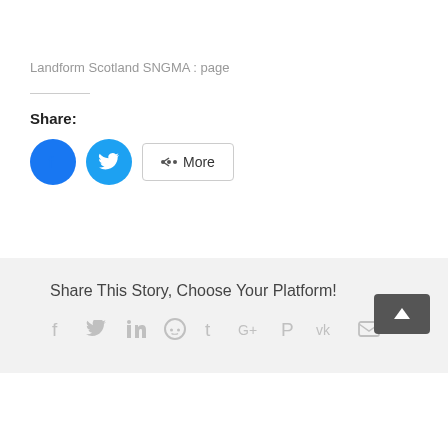Landform Scotland SNGMA : page
Share:
[Figure (other): Social share buttons: Facebook (blue circle), Twitter (light blue circle), and a More button with share icon]
Share This Story, Choose Your Platform!
[Figure (other): Social media icons in a row: Facebook, Twitter, LinkedIn, Reddit, Tumblr, Google+, Pinterest, VK, Email]
[Figure (other): Back to top dark grey button with upward arrow]